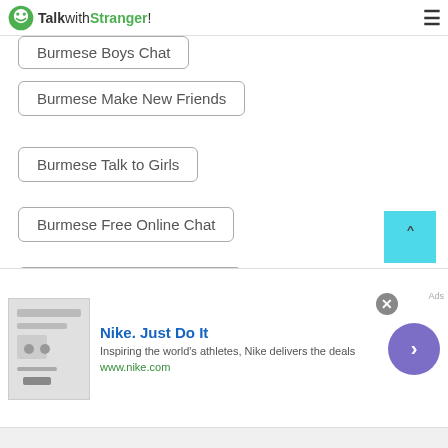TalkwithStranger!
Burmese Boys Chat
Burmese Make New Friends
Burmese Talk to Girls
Burmese Free Online Chat
Burmese Meet New Friends
Burmese World Chat
Burmese International Chat
Burmese Depression Chat
[Figure (screenshot): Nike advertisement banner: 'Nike. Just Do It' with tagline 'Inspiring the world's athletes, Nike delivers the deals' and url www.nike.com]